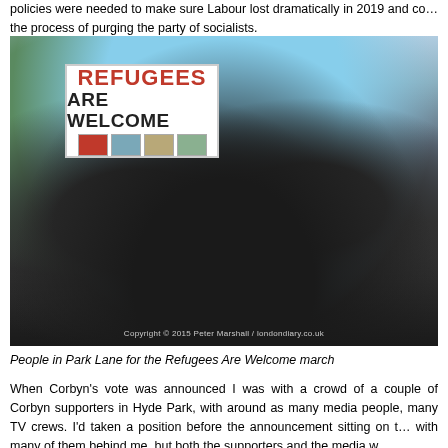policies were needed to make sure Labour lost dramatically in 2019 and co... the process of purging the party of socialists.
[Figure (photo): Crowd of people marching on Park Lane holding signs including a large 'Refugees Are Welcome' sign, at a protest march in 2015. Copyright 2015 Peter Marshall / londondiary.co.uk]
People in Park Lane for the Refugees Are Welcome march
When Corbyn's vote was announced I was with a crowd of a couple of Corbyn supporters in Hyde Park, with around as many media people, many TV crews. I'd taken a position before the announcement sitting on t... with many of them behind me, but both the supporters and the media w...